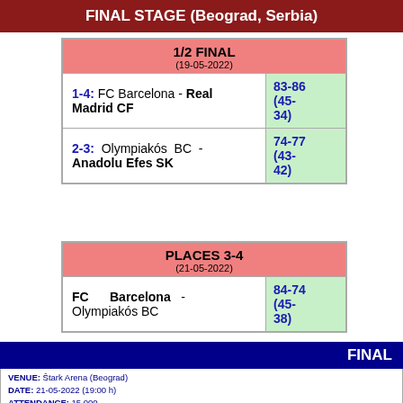FINAL STAGE (Beograd, Serbia)
| 1/2 FINAL (19-05-2022) | Score |
| --- | --- |
| 1-4: FC Barcelona - Real Madrid CF | 83-86 (45-34) |
| 2-3: Olympiakós BC - Anadolu Efes SK | 74-77 (43-42) |
| PLACES 3-4 (21-05-2022) | Score |
| --- | --- |
| FC Barcelona - Olympiakós BC | 84-74 (45-38) |
FINAL
VENUE: Štark Arena (Beograd)
DATE: 21-05-2022 (19:00 h)
ATTENDANCE: 15.000
REFEREES: Luigi Lamonica (ITA), Boris Ryzhik (UKR), Gytis Vilius (LIT)
FOULED OUT: -
SCORING BY QUARTER: 11-15 / 15-18 / 11-8 / 18-15